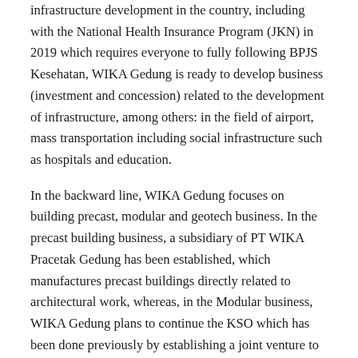infrastructure development in the country, including with the National Health Insurance Program (JKN) in 2019 which requires everyone to fully following BPJS Kesehatan, WIKA Gedung is ready to develop business (investment and concession) related to the development of infrastructure, among others: in the field of airport, mass transportation including social infrastructure such as hospitals and education.
In the backward line, WIKA Gedung focuses on building precast, modular and geotech business. In the precast building business, a subsidiary of PT WIKA Pracetak Gedung has been established, which manufactures precast buildings directly related to architectural work, whereas, in the Modular business, WIKA Gedung plans to continue the KSO which has been done previously by establishing a joint venture to produce modular joint, then in geothermal WIKA Gedung will acquire companies in this sector to develop